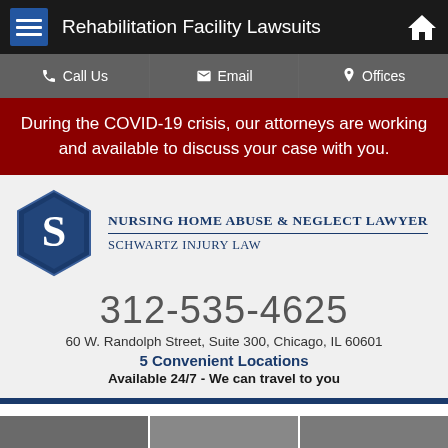Rehabilitation Facility Lawsuits
Call Us | Email | Offices
During the COVID-19 crisis, our attorneys are working and available to discuss your case with you.
[Figure (logo): Schwartz Injury Law hexagon logo with 'S' letter, beside firm name 'Nursing Home Abuse & Neglect Lawyer - Schwartz Injury Law']
312-535-4625
60 W. Randolph Street, Suite 300, Chicago, IL 60601
5 Convenient Locations
Available 24/7 - We can travel to you
Chicago, IL Rehab Facility Injury Lawyers
[Figure (photo): Bottom image strip showing partial photos, cut off at page bottom]